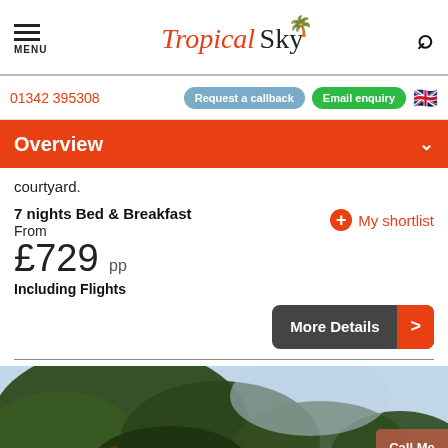Tropical Sky — MENU, search icon
01342 395308  Request a callback  Email enquiry
Overview
courtyard.
7 nights Bed & Breakfast
From
£729 pp
Including Flights
My shortlist
More Details
[Figure (photo): Outdoor scene with pine trees and blue sky, partially visible at the bottom of the page]